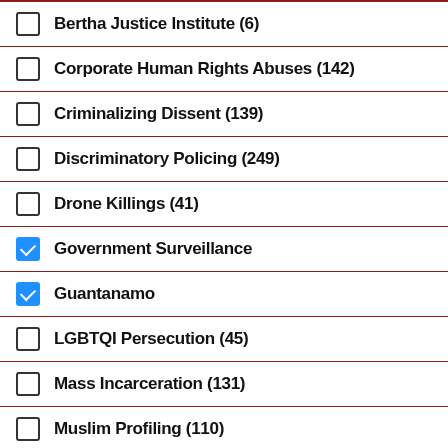Bertha Justice Institute (6)
Corporate Human Rights Abuses (142)
Criminalizing Dissent (139)
Discriminatory Policing (249)
Drone Killings (41)
Government Surveillance
Guantanamo
LGBTQI Persecution (45)
Mass Incarceration (131)
Muslim Profiling (110)